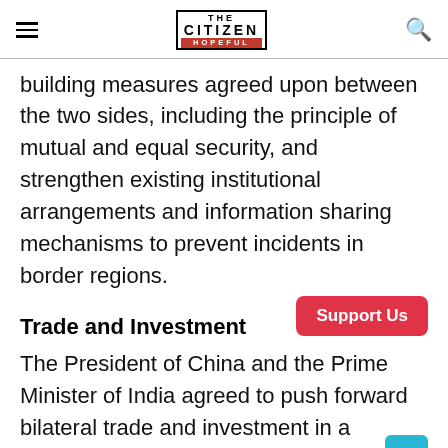THE CITIZEN IS HOPEFUL
building measures agreed upon between the two sides, including the principle of mutual and equal security, and strengthen existing institutional arrangements and information sharing mechanisms to prevent incidents in border regions.
Trade and Investment
The President of China and the Prime Minister of India agreed to push forward bilateral trade and investment in a balanced and sustainable manner by taking advantage of